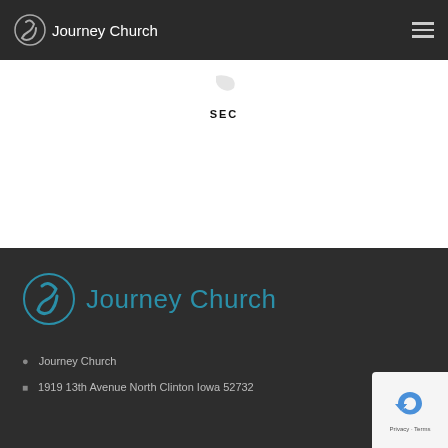Journey Church
SEC
[Figure (logo): Journey Church logo in teal/blue with stylized figure icon and text 'Journey Church']
Journey Church
1919 13th Avenue North Clinton Iowa 52732